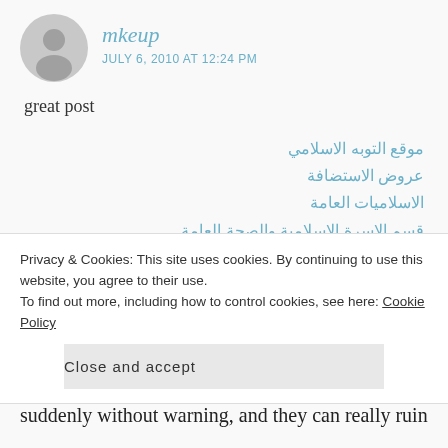[Figure (illustration): Grey circular avatar placeholder icon with a silhouette of a person]
mkeup
JULY 6, 2010 AT 12:24 PM
great post
موقع التوبه الاسلامي
عروض الاستضافة
الاسلاميات العامة
قسم الاسرة الاسلامية والصحة العامة
★ Like
REPLY
Privacy & Cookies: This site uses cookies. By continuing to use this website, you agree to their use.
To find out more, including how to control cookies, see here: Cookie Policy
Close and accept
suddenly without warning, and they can really ruin